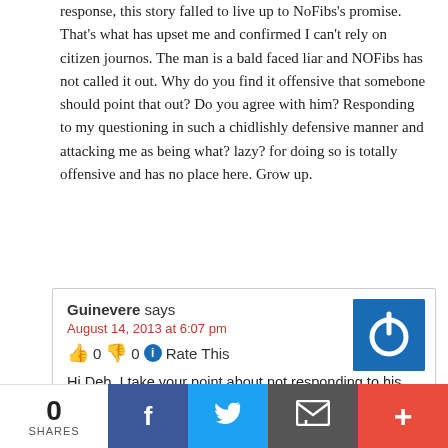response, this story falled to live up to NoFibs's promise. That's what has upset me and confirmed I can't rely on citizen journos. The man is a bald faced liar and NOFibs has not called it out. Why do you find it offensive that somebone should point that out? Do you agree with him? Responding to my questioning in such a chidlishly defensive manner and attacking me as being what? lazy? for doing so is totally offensive and has no place here. Grow up.
Guinevere says
August 14, 2013 at 6:07 pm
👍 0 👎 0 ℹ Rate This
Hi Deb, I take your point about not responding to his refugee statement. However, my aim, is to at least publish what he stands for and what he says so people in my electorate, whether they agree with him or not can be informed. That is more than they are getting from the mainstream media,
0
SHARES